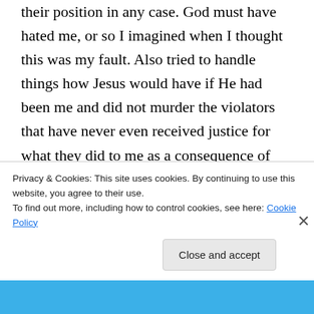their position in any case. God must have hated me, or so I imagined when I thought this was my fault. Also tried to handle things how Jesus would have if He had been me and did not murder the violators that have never even received justice for what they did to me as a consequence of my deep pain and anger. Have even tried to give it to Jesus as I try to live and realized I do not even have enough power to manage life on life's terms in addition to this
Privacy & Cookies: This site uses cookies. By continuing to use this website, you agree to their use. To find out more, including how to control cookies, see here: Cookie Policy
Close and accept